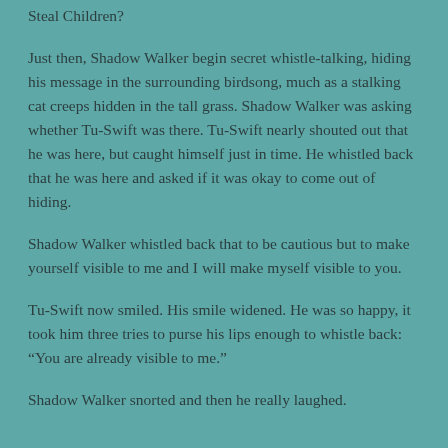Steal Children?
Just then, Shadow Walker begin secret whistle-talking, hiding his message in the surrounding birdsong, much as a stalking cat creeps hidden in the tall grass. Shadow Walker was asking whether Tu-Swift was there. Tu-Swift nearly shouted out that he was here, but caught himself just in time. He whistled back that he was here and asked if it was okay to come out of hiding.
Shadow Walker whistled back that to be cautious but to make yourself visible to me and I will make myself visible to you.
Tu-Swift now smiled. His smile widened. He was so happy, it took him three tries to purse his lips enough to whistle back: “You are already visible to me.”
Shadow Walker snorted and then he really laughed.